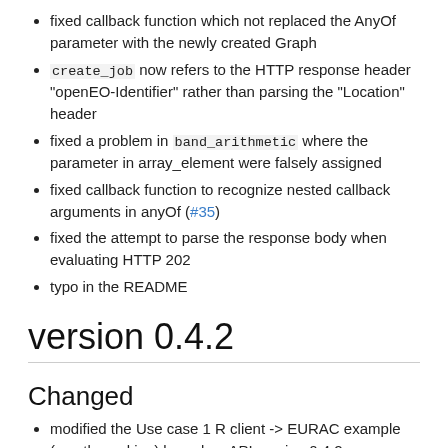fixed callback function which not replaced the AnyOf parameter with the newly created Graph
create_job now refers to the HTTP response header "openEO-Identifier" rather than parsing the "Location" header
fixed a problem in band_arithmetic where the parameter in array_element were falsely assigned
fixed callback function to recognize nested callback arguments in anyOf (#35)
fixed the attempt to parse the response body when evaluating HTTP 202
typo in the README
version 0.4.2
Changed
modified the Use case 1 R client -> EURAC example (mostly working) based on API version 0.4.2
return a list of file paths on download results